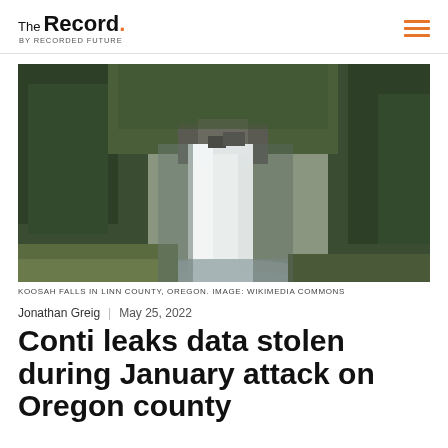The Record. BY RECORDED FUTURE
[Figure (photo): Aerial photograph of Koosah Falls in Linn County, Oregon — a large waterfall flanked by dense evergreen forest, with misty white water falling into a rocky pool]
KOOSAH FALLS IN LINN COUNTY, OREGON. IMAGE: WIKIMEDIA COMMONS
Jonathan Greig | May 25, 2022
Conti leaks data stolen during January attack on Oregon county